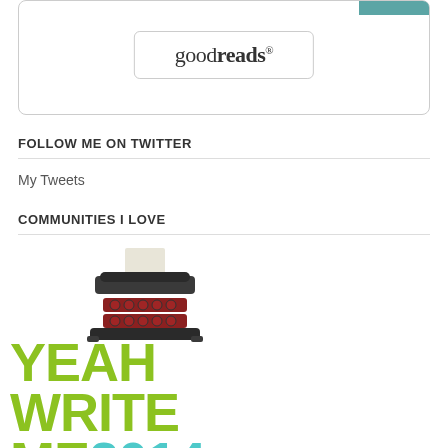[Figure (screenshot): Goodreads widget box with teal accent in top-right corner and goodreads logo centered inside a rounded rectangle]
FOLLOW ME ON TWITTER
My Tweets
COMMUNITIES I LOVE
[Figure (logo): Yeah Write Me 2014 logo with illustrated typewriter on top and bold green block lettering 'YEAH WRITE ME' with '2014' in teal]